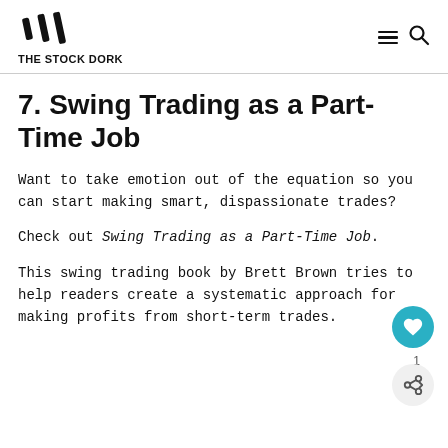THE STOCK DORK
7. Swing Trading as a Part-Time Job
Want to take emotion out of the equation so you can start making smart, dispassionate trades?
Check out Swing Trading as a Part-Time Job.
This swing trading book by Brett Brown tries to help readers create a systematic approach for making profits from short-term trades.